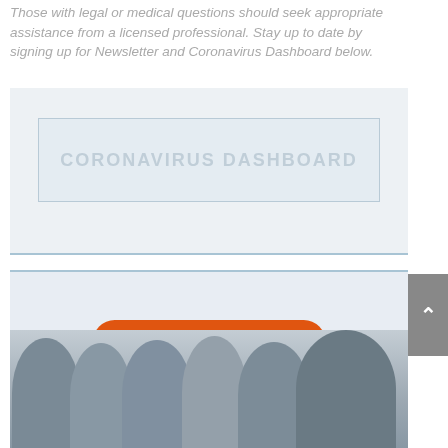Those with legal or medical questions should seek appropriate assistance from a licensed professional. Stay up to date by signing up for Newsletter and Coronavirus Dashboard below.
[Figure (screenshot): Coronavirus Dashboard button/widget area with light blue-gray background and bordered box containing faded text 'CORONAVIRUS DASHBOARD']
[Figure (infographic): Newsletter sign-up section with light blue-gray background and an orange rounded-rectangle button labeled 'Newsletter Sign Up Now' in blue underlined text]
[Figure (photo): Group photo showing several people (men and women) from shoulders up, partially visible at bottom of page]